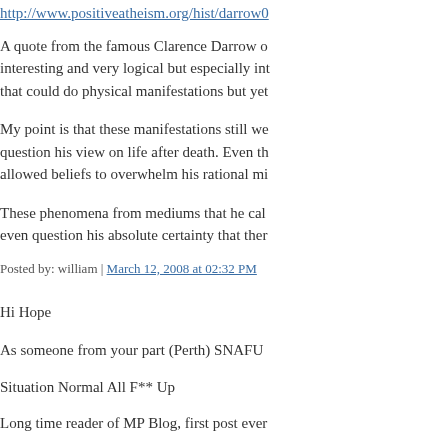http://www.positiveatheism.org/hist/darrow0...
A quote from the famous Clarence Darrow o... interesting and very logical but especially int... that could do physical manifestations but yet...
My point is that these manifestations still we... question his view on life after death. Even th... allowed beliefs to overwhelm his rational mi...
These phenomena from mediums that he call... even question his absolute certainty that ther...
Posted by: william | March 12, 2008 at 02:32 PM
Hi Hope
As someone from your part (Perth) SNAFU
Situation Normal All F** Up
Long time reader of MP Blog, first post ever...
Love the mix of comments
Posted by: Jimbo | March 12, 2008 at 08:38 PM